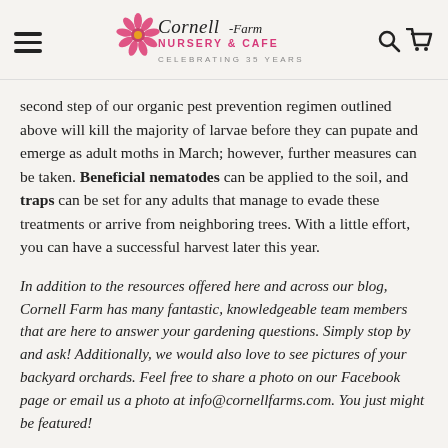Cornell Farm Nursery & Cafe — Celebrating 35 Years!
second step of our organic pest prevention regimen outlined above will kill the majority of larvae before they can pupate and emerge as adult moths in March; however, further measures can be taken. Beneficial nematodes can be applied to the soil, and traps can be set for any adults that manage to evade these treatments or arrive from neighboring trees. With a little effort, you can have a successful harvest later this year.
In addition to the resources offered here and across our blog, Cornell Farm has many fantastic, knowledgeable team members that are here to answer your gardening questions. Simply stop by and ask! Additionally, we would also love to see pictures of your backyard orchards. Feel free to share a photo on our Facebook page or email us a photo at info@cornellfarms.com. You just might be featured!